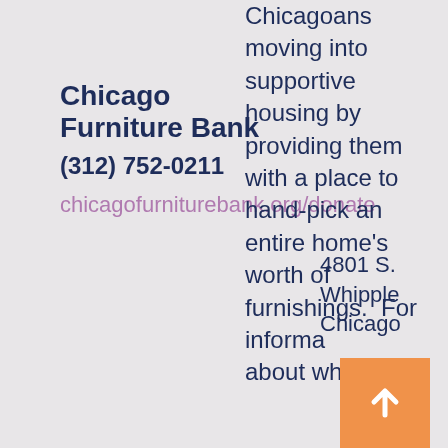Chicago Furniture Bank
(312) 752-0211
chicagofurniturebank.org/donate
4801 S. Whipple Chicago
Chicagoans moving into supportive housing by providing them with a place to hand-pick an entire home's worth of furnishings. For informa about what